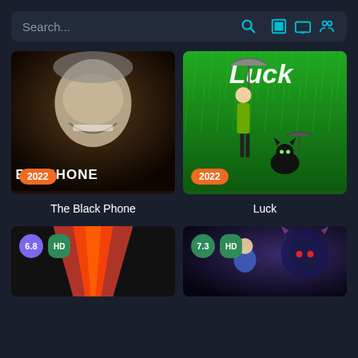Search... [search icon] [movie icon] [tv icon] [people icon]
[Figure (photo): Movie poster for The Black Phone (2022) - creepy masked face in black and white tones, with title text 'BLACK PHONE' partially visible, orange year badge '2022']
The Black Phone
[Figure (photo): Movie poster for Luck (2022) - animated girl with umbrella on green background with black cat, title 'Luck' in stylized text, orange year badge '2022']
Luck
[Figure (photo): Partial movie poster with red/orange V-shape design, rating badge 6.8 (purple) and HD badge (green)]
[Figure (photo): Partial movie poster with dark blue/purple alien/superhero theme, rating badge 7.3 (teal) and HD badge (green)]